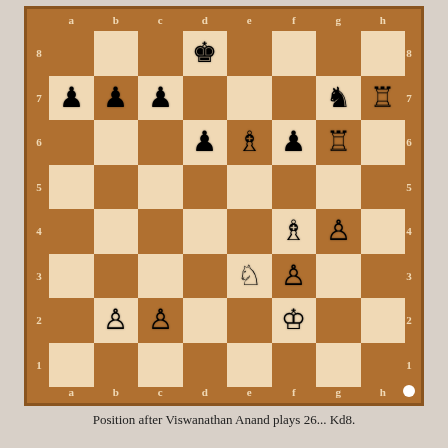[Figure (other): Chess board diagram showing position after Viswanathan Anand plays 26... Kd8. Black king on d8, white bishop on e6, black knight on g7, white rook on h7, black bishop on e6 area, black pawns on a7, b7, c7, d6, f6, white pawns on b2, c2, f3, g4, white knight on e3, white king on f2, white bishop on f4.]
Position after Viswanathan Anand plays 26... Kd8.